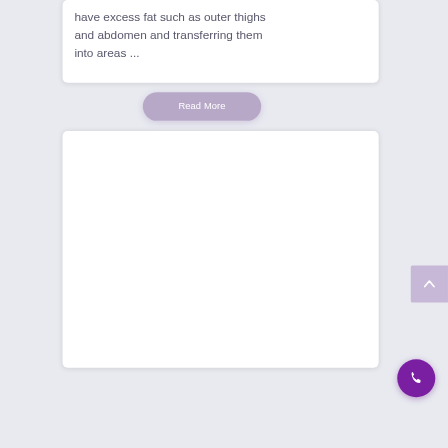have excess fat such as outer thighs and abdomen and transferring them into areas ...
[Figure (other): A rounded pill-shaped button with lavender/purple background labeled 'Read More' in white text]
[Figure (other): A white rounded card panel below the read-more button, largely empty content area]
[Figure (other): A scroll-to-top arrow button on the right edge, lavender background with upward caret]
[Figure (other): A circular purple phone/call button in the bottom right corner with white phone icon]